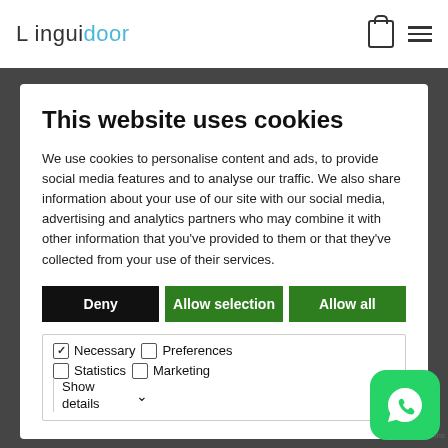Linguidoor
This website uses cookies
We use cookies to personalise content and ads, to provide social media features and to analyse our traffic. We also share information about your use of our site with our social media, advertising and analytics partners who may combine it with other information that you’ve provided to them or that they’ve collected from your use of their services.
Deny | Allow selection | Allow all
Necessary  Preferences  Statistics  Marketing  Show details
customer and stake holders.
Sumit Shrivastava